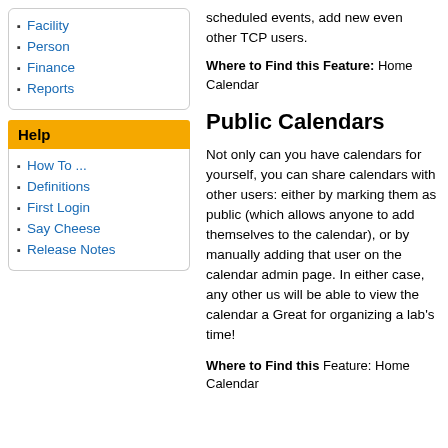Facility
Person
Finance
Reports
Help
How To ...
Definitions
First Login
Say Cheese
Release Notes
scheduled events, add new even other TCP users.
Where to Find this Feature: Home Calendar
Public Calendars
Not only can you have calendars for yourself, you can share calendars with other users: either by marking them as public (which allows anyone to add themselves to the calendar), or by manually adding that user on the calendar admin page. In either case, any other us will be able to view the calendar a Great for organizing a lab's time!
Where to Find this Feature: Home Calendar